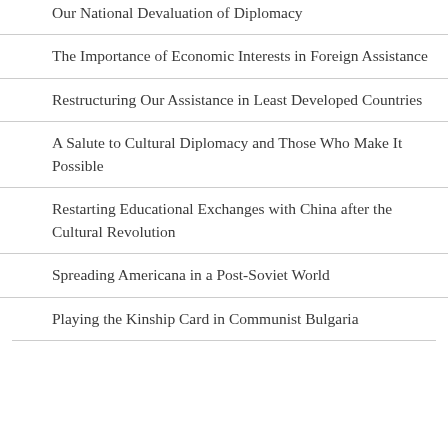Our National Devaluation of Diplomacy
The Importance of Economic Interests in Foreign Assistance
Restructuring Our Assistance in Least Developed Countries
A Salute to Cultural Diplomacy and Those Who Make It Possible
Restarting Educational Exchanges with China after the Cultural Revolution
Spreading Americana in a Post-Soviet World
Playing the Kinship Card in Communist Bulgaria